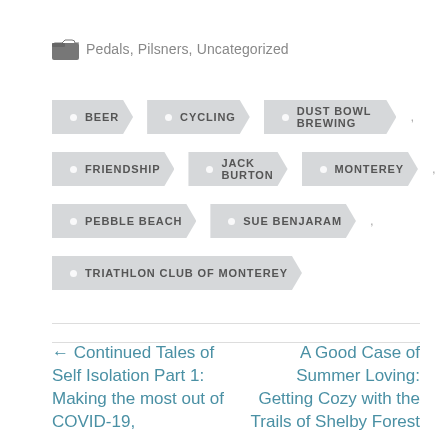Pedals, Pilsners, Uncategorized
BEER
CYCLING
DUST BOWL BREWING
FRIENDSHIP
JACK BURTON
MONTEREY
PEBBLE BEACH
SUE BENJARAM
TRIATHLON CLUB OF MONTEREY
← Continued Tales of Self Isolation Part 1: Making the most out of COVID-19,
A Good Case of Summer Loving: Getting Cozy with the Trails of Shelby Forest